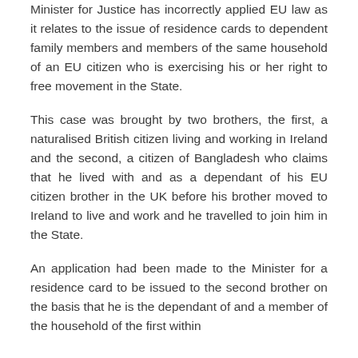Minister for Justice has incorrectly applied EU law as it relates to the issue of residence cards to dependent family members and members of the same household of an EU citizen who is exercising his or her right to free movement in the State.
This case was brought by two brothers, the first, a naturalised British citizen living and working in Ireland and the second, a citizen of Bangladesh who claims that he lived with and as a dependant of his EU citizen brother in the UK before his brother moved to Ireland to live and work and he travelled to join him in the State.
An application had been made to the Minister for a residence card to be issued to the second brother on the basis that he is the dependant of and a member of the household of the first within